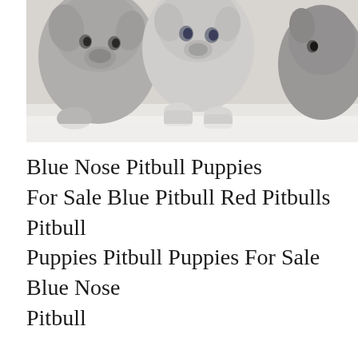[Figure (photo): Three pitbull puppies, light gray and white, with blue eyes, looking over a white ledge or surface. Image is washed out/faded with light gray tones.]
Blue Nose Pitbull Puppies For Sale Blue Pitbull Red Pitbulls Pitbull Puppies Pitbull Puppies For Sale Blue Nose Pitbull